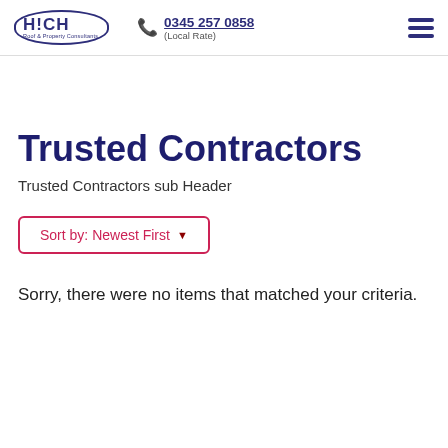HICH Roof & Property Consultants | 0345 257 0858 (Local Rate)
Trusted Contractors
Trusted Contractors sub Header
Sort by: Newest First
Sorry, there were no items that matched your criteria.